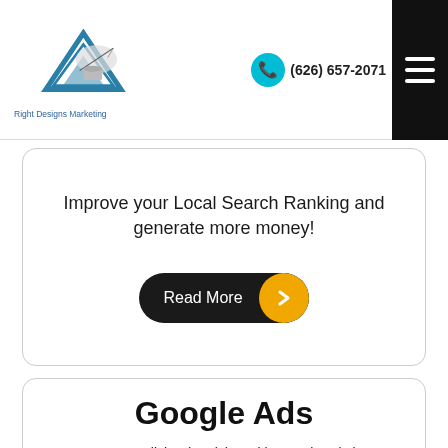[Figure (logo): Right Designs Marketing logo with triangle/mountain and quill pen illustration]
Right Designs Marketing
[Figure (illustration): Cyan phone icon circle]
(626) 657-2071
Improve your Local Search Ranking and generate more money!
Read More
Google Ads
Pay-Per-Click Advertising with Google Ads is